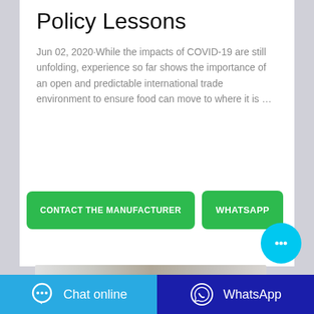Policy Lessons
Jun 02, 2020·While the impacts of COVID-19 are still unfolding, experience so far shows the importance of an open and predictable international trade environment to ensure food can move to where it is …
[Figure (screenshot): Two green buttons: 'CONTACT THE MANUFACTURER' and 'WHATSAPP', with a cyan chat bubble icon overlay]
[Figure (photo): Partial image strip at bottom of card, appearing to show a light-colored surface]
Chat online  |  WhatsApp